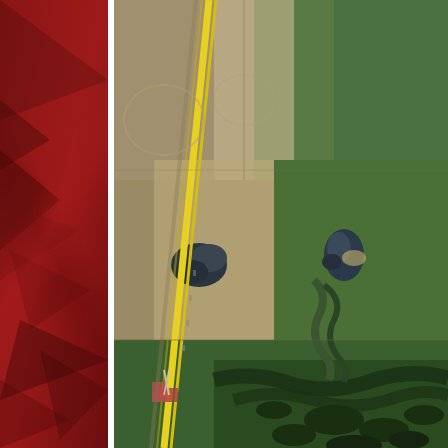[Figure (photo): Aerial satellite photograph showing rural agricultural land with fields, two small ponds/water bodies, and a yellow pipeline or road corridor running diagonally from upper-center to lower-left. The right side shows greener grass fields with a meandering drainage creek lined with trees. A red decorative sidebar with geometric triangle patterns is on the left side of the page.]